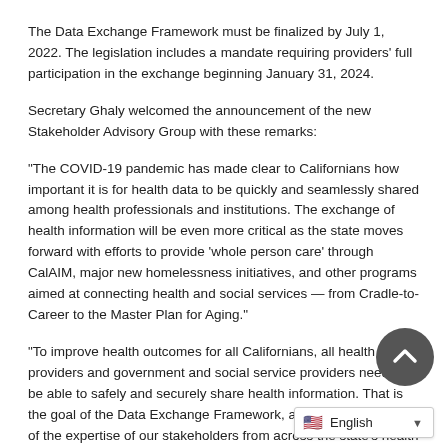The Data Exchange Framework must be finalized by July 1, 2022. The legislation includes a mandate requiring providers' full participation in the exchange beginning January 31, 2024.
Secretary Ghaly welcomed the announcement of the new Stakeholder Advisory Group with these remarks:
“The COVID-19 pandemic has made clear to Californians how important it is for health data to be quickly and seamlessly shared among health professionals and institutions. The exchange of health information will be even more critical as the state moves forward with efforts to provide ‘whole person care’ through CalAIM, major new homelessness initiatives, and other programs aimed at connecting health and social services — from Cradle-to-Career to the Master Plan for Aging.”
“To improve health outcomes for all Californians, all health care providers and government and social service providers need to be able to safely and securely share health information. That is the goal of the Data Exchange Framework, and we will need all of the expertise of our stakeholders from across the state’s health care and human services systems to build it.”
“I appreciate the members of the Stakeholder Advisory Group for their willingness to provide their assistance — and put California on a path to sharing data that will build a healthy California for all.”